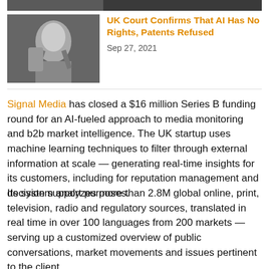[Figure (photo): Partial view of a dark image strip at the top of the page]
[Figure (photo): Black and white photo of a humanoid robot or AI figure with hand raised to head]
UK Court Confirms That AI Has No Rights, Patents Refused
Sep 27, 2021
Signal Media has closed a $16 million Series B funding round for an AI-fueled approach to media monitoring and b2b market intelligence. The UK startup uses machine learning techniques to filter through external information at scale — generating real-time insights for its customers, including for reputation management and decision support purposes.
Its system analyzes more than 2.8M global online, print, television, radio and regulatory sources, translated in real time in over 100 languages from 200 markets — serving up a customized overview of public conversations, market movements and issues pertinent to the client.